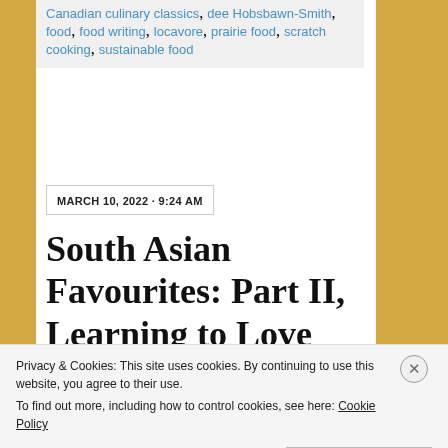Canadian culinary classics, dee Hobsbawn-Smith, food, food writing, locavore, prairie food, scratch cooking, sustainable food
MARCH 10, 2022 · 9:24 AM
South Asian Favourites: Part II, Learning to Love Lamb
Privacy & Cookies: This site uses cookies. By continuing to use this website, you agree to their use.
To find out more, including how to control cookies, see here: Cookie Policy
Close and accept